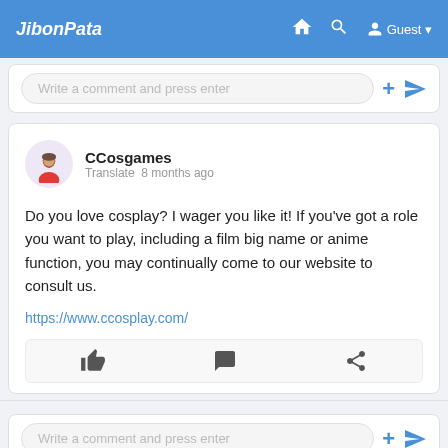JibonPata  Guest
Write a comment and press enter
CCosgames
Translate  8 months ago

Do you love cosplay? I wager you like it! If you've got a role you want to play, including a film big name or anime function, you may continually come to our website to consult us.

https://www.ccosplay.com/
Write a comment and press enter